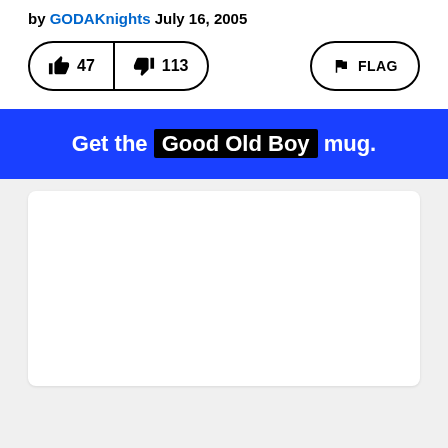by GODAKnights July 16, 2005
[Figure (screenshot): Vote buttons showing thumbs up with count 47 and thumbs down with count 113, plus a FLAG button]
Get the Good Old Boy mug.
[Figure (other): White card/content area placeholder]